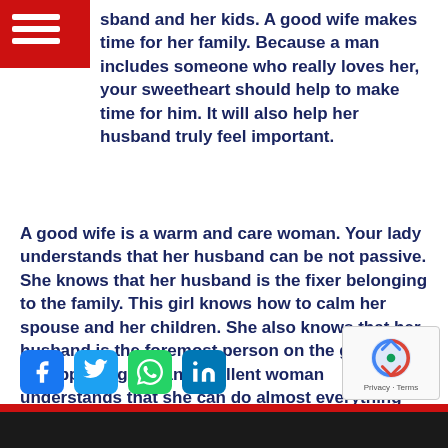☰ (hamburger menu)
sband and her kids. A good wife makes time for her family. Because a man includes someone who really loves her, your sweetheart should help to make time for him. It will also help her husband truly feel important.
A good wife is a warm and care woman. Your lady understands that her husband can be not passive. She knows that her husband is the fixer belonging to the family. This girl knows how to calm her spouse and her children. She also knows that her husband is the foremost person on the globe. She is supporting. So an excellent woman understands that she can do almost everything for her hubby. She would not blame her man. A good partner has compassion and respect on her husband.
[Figure (other): Social media share buttons: Facebook, Twitter, WhatsApp, LinkedIn]
[Figure (other): reCAPTCHA widget with Privacy - Terms text]
Privacy · Terms (footer bar)